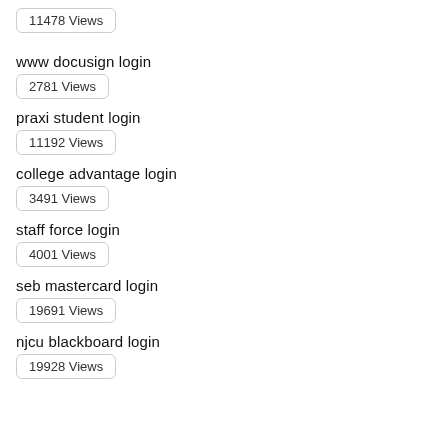11478 Views
www docusign login
2781 Views
praxi student login
11192 Views
college advantage login
3491 Views
staff force login
4001 Views
seb mastercard login
19691 Views
njcu blackboard login
19928 Views